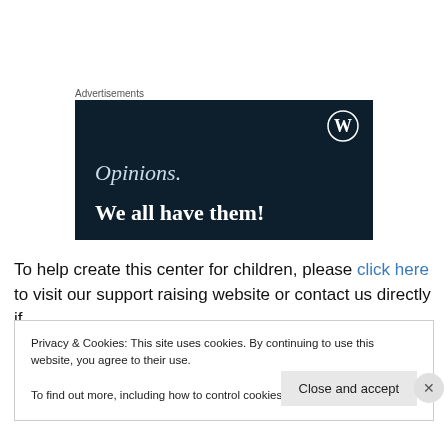Advertisements
[Figure (illustration): WordPress advertisement banner with dark navy background showing 'Opinions. We all have them!' text and WordPress logo]
To help create this center for children, please click here to visit our support raising website or contact us directly if
Privacy & Cookies: This site uses cookies. By continuing to use this website, you agree to their use.
To find out more, including how to control cookies, see here: Cookie Policy